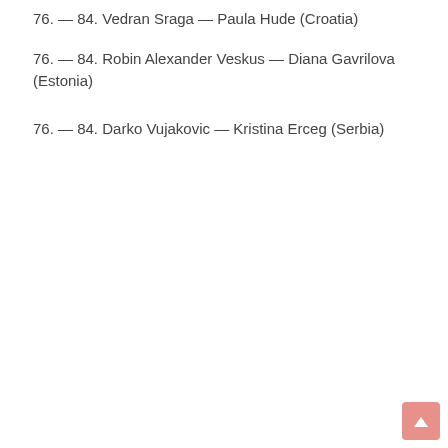76. — 84. Vedran Sraga — Paula Hude (Croatia)
76. — 84. Robin Alexander Veskus — Diana Gavrilova (Estonia)
76. — 84. Darko Vujakovic — Kristina Erceg (Serbia)